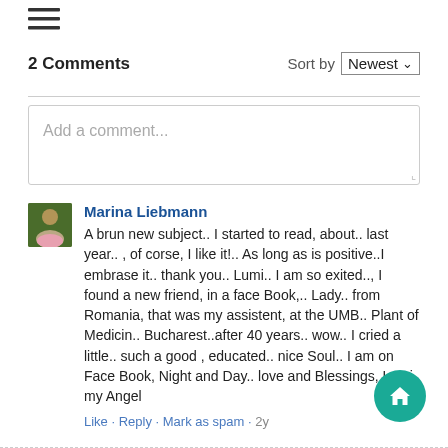[Figure (other): Hamburger menu icon (three horizontal lines)]
2 Comments
Sort by Newest
Add a comment...
Marina Liebmann
A brun new subject.. I started to read, about.. last year.. , of corse, I like it!.. As long as is positive..I embrase it.. thank you.. Lumi.. I am so exited.., I found a new friend, in a face Book,.. Lady.. from Romania, that was my assistent, at the UMB.. Plant of Medicin.. Bucharest..after 40 years.. wow.. I cried a little.. such a good , educated.. nice Soul.. I am on Face Book, Night and Day.. love and Blessings, Lumi, my Angel
Like · Reply · Mark as spam · 2y